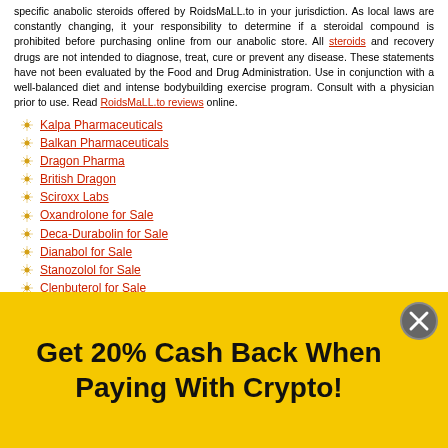specific anabolic steroids offered by RoidsMaLL.to in your jurisdiction. As local laws are constantly changing, it your responsibility to determine if a steroidal compound is prohibited before purchasing online from our anabolic store. All steroids and recovery drugs are not intended to diagnose, treat, cure or prevent any disease. These statements have not been evaluated by the Food and Drug Administration. Use in conjunction with a well-balanced diet and intense bodybuilding exercise program. Consult with a physician prior to use. Read RoidsMaLL.to reviews online.
Kalpa Pharmaceuticals
Balkan Pharmaceuticals
Dragon Pharma
British Dragon
Sciroxx Labs
Oxandrolone for Sale
Deca-Durabolin for Sale
Dianabol for Sale
Stanozolol for Sale
Clenbuterol for Sale
Human Growth Hormone
Human Chorionic Gonadotropin
Testosterone Cypionate for Sale
Testosterone Enanthate for Sale
Testosterone Propionate for Sale
Get 20% Cash Back When Paying With Crypto!